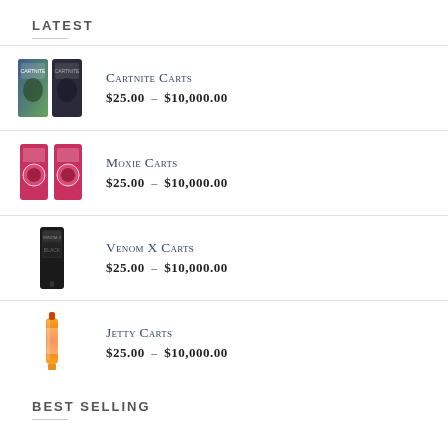LATEST
Cartnite Carts $25.00 – $10,000.00
Moxie Carts $25.00 – $10,000.00
Venom X Carts $25.00 – $10,000.00
Jetty Carts $25.00 – $10,000.00
BEST SELLING